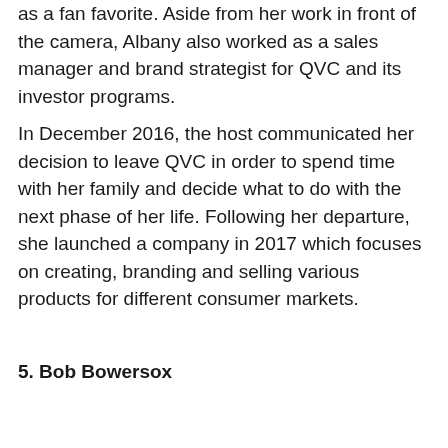as a fan favorite. Aside from her work in front of the camera, Albany also worked as a sales manager and brand strategist for QVC and its investor programs.
In December 2016, the host communicated her decision to leave QVC in order to spend time with her family and decide what to do with the next phase of her life. Following her departure, she launched a company in 2017 which focuses on creating, branding and selling various products for different consumer markets.
5. Bob Bowersox